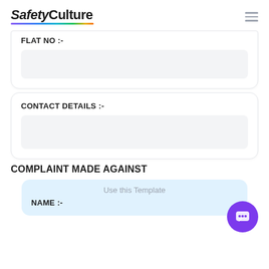SafetyCulture
FLAT NO :-
CONTACT DETAILS :-
COMPLAINT MADE AGAINST
NAME :-